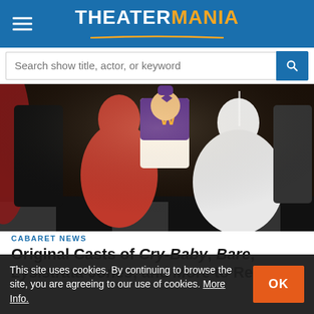THEATERMANIA
Search show title, actor, or keyword
[Figure (photo): Theatrical performance scene with cast members in costume: a woman in a red ball gown, a man in a purple letterman vest with 'W', and a woman in a white wedding dress, all performing on stage]
CABARET NEWS
Original Casts of Cry-Baby, Bare, Lysistrata Jones, and More to Reunite
This site uses cookies. By continuing to browse the site, you are agreeing to our use of cookies. More Info.